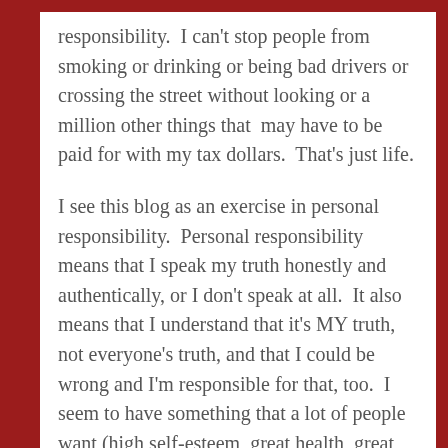responsibility.  I can't stop people from smoking or drinking or being bad drivers or crossing the street without looking or a million other things that  may have to be paid for with my tax dollars.  That's just life.
I see this blog as an exercise in personal responsibility.  Personal responsibility means that I speak my truth honestly and authentically, or I don't speak at all.  It also means that I understand that it's MY truth, not everyone's truth, and that I could be wrong and I'm responsible for that, too.  I seem to have something that a lot of people want (high self-esteem, great health, great body image, great life), it wasn't always this way and so I share the things that got me here in case it's helpful to